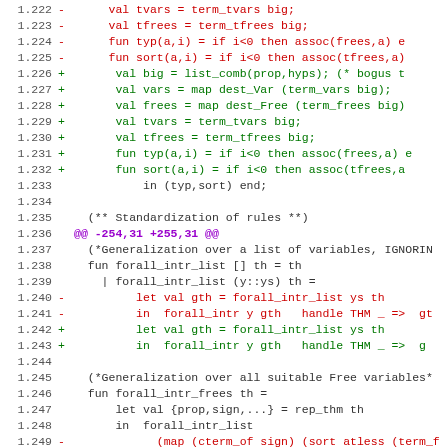[Figure (screenshot): Code diff showing lines 1.222–1.253 of an ML/SML source file with removed (red) and added (green) lines related to variable binding and generalization functions.]